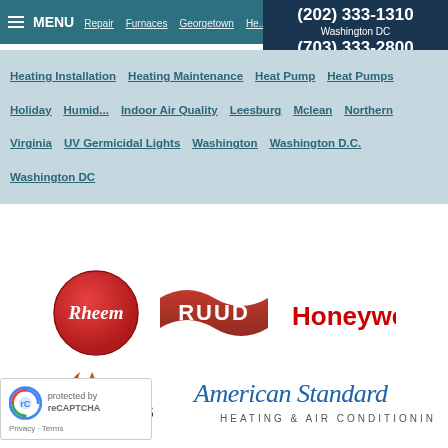MENU | (202) 333-1310 Washington DC | (703) 333-2800 Northern VA
Heating Installation   Heating Maintenance   Heat Pump   Heat Pumps   Holiday   Humidifier   Indoor Air Quality   Leesburg   Mclean   Northern Virginia   UV Germicidal Lights   Washington   Washington D.C.   Washington DC
[Figure (logo): Rheem logo - circular red badge with white Rheem text]
[Figure (logo): RUUD logo - red wave shape with RUUD text]
[Figure (logo): Honeywell logo - red bold Honeywell text]
[Figure (logo): Utica Boilers logo - flame icon with UTICA BOILERS text]
[Figure (logo): American Standard Heating & Air Conditioning logo - script and sans-serif text]